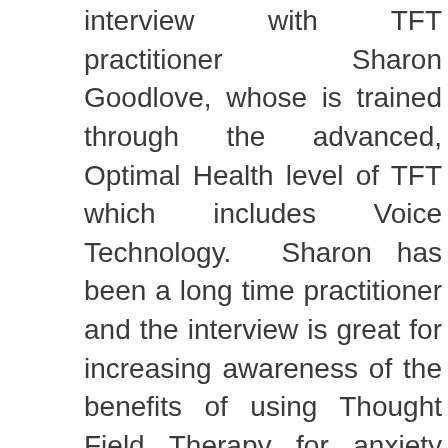interview with TFT practitioner Sharon Goodlove, whose is trained through the advanced, Optimal Health level of TFT which includes Voice Technology. Sharon has been a long time practitioner and the interview is great for increasing awareness of the benefits of using Thought Field Therapy for anxiety and stress in today's chaotic times.
For further information on training in TFT or a listing of practitioners, go to www.TFTRX.com .
Thought Field Therapy Tapping into Emotional Freedom